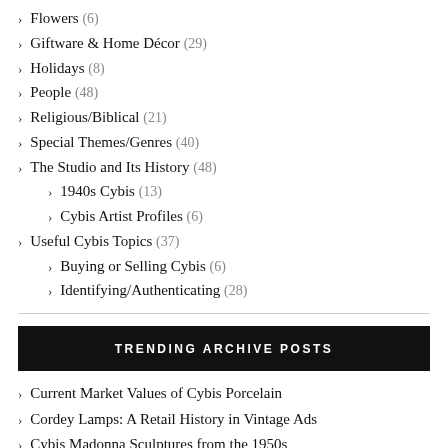Flowers (6)
Giftware & Home Décor (29)
Holidays (8)
People (48)
Religious/Biblical (21)
Special Themes/Genres (40)
The Studio and Its History (48)
1940s Cybis (13)
Cybis Artist Profiles (6)
Useful Cybis Topics (37)
Buying or Selling Cybis (6)
Identifying/Authenticating (28)
TRENDING ARCHIVE POSTS
Current Market Values of Cybis Porcelain
Cordey Lamps: A Retail History in Vintage Ads
Cybis Madonna Sculptures from the 1950s